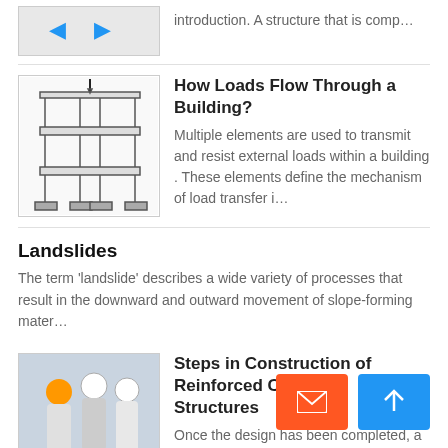introduction. A structure that is comp…
How Loads Flow Through a Building?
Multiple elements are used to transmit and resist external loads within a building . These elements define the mechanism of load transfer i…
Landslides
The term 'landslide' describes a wide variety of processes that result in the downward and outward movement of slope-forming mater…
Steps in Construction of Reinforced Concrete Structures
Once the design has been completed, a team of experienced and knowledgeable construction workers and supervisors is required to transform…
Types, Assumptions and Fundamental Approaches of Structural Analysis
The subject and purposes of the Theor… in the broad sense in the branch of st…